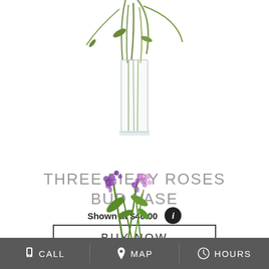[Figure (photo): Glass bud vase with green stems/leaves extending upward, photographed on white background, cropped at top]
THREE FIERY ROSES BUD VASE
Shown at $40.00
BUY NOW
[Figure (photo): Purple and lavender flower arrangement with green stems, bottom portion visible]
CALL   MAP   HOURS